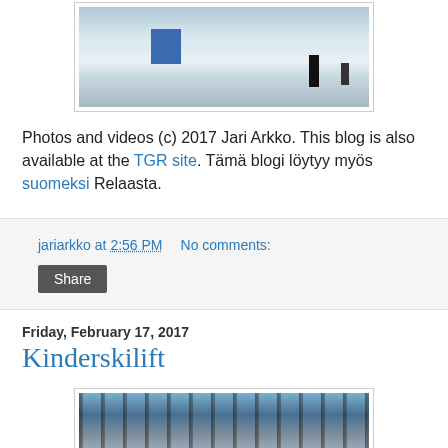[Figure (photo): Winter scene photo showing snow, a blue box/barrier, and two figures on a snowy slope]
Photos and videos (c) 2017 Jari Arkko. This blog is also available at the TGR site. Tämä blogi löytyy myös suomeksi Relaasta.
jariarkko at 2:56 PM    No comments:
Share
Friday, February 17, 2017
Kinderskilift
[Figure (photo): Winter forest scene photo with trees covered in snow against a blue sky]